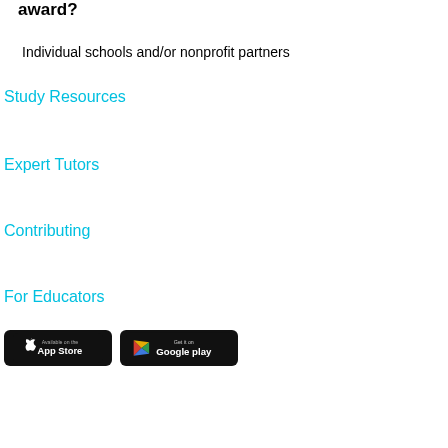award?
Individual schools and/or nonprofit partners
Study Resources
Expert Tutors
Contributing
For Educators
[Figure (other): App Store and Google Play download buttons]